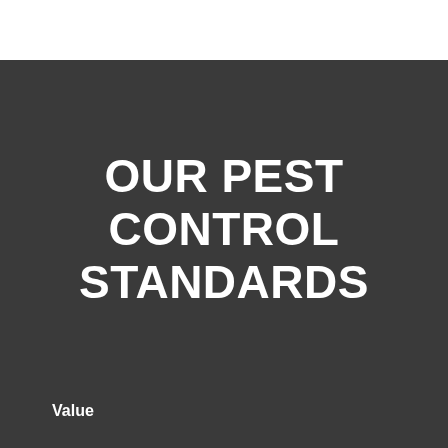OUR PEST CONTROL STANDARDS
Value